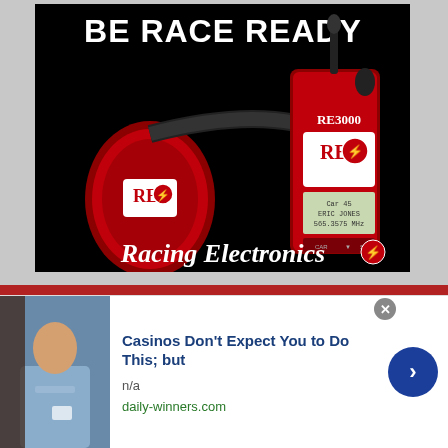[Figure (photo): Racing Electronics advertisement showing red racing headset and RE3000 handheld radio scanner on black background with text 'BE RACE READY' at top and 'RACING ELECTRONICS' logo at bottom]
[Figure (screenshot): Overlay advertisement banner at bottom of page. Shows thumbnail photo of man in light blue shirt. Text reads: 'Casinos Don't Expect You to Do This; but', 'n/a', 'daily-winners.com'. Has close X button and blue arrow button.]